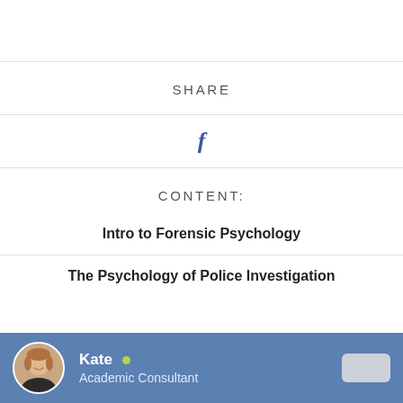SHARE
[Figure (illustration): Facebook share icon — lowercase letter f in dark blue]
CONTENT:
Intro to Forensic Psychology
The Psychology of Police Investigation
[Figure (illustration): Chat bar with avatar photo of Kate, Academic Consultant, with online status indicator green dot]